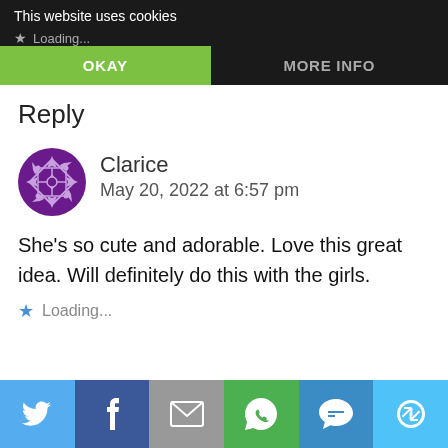This website uses cookies
Loading...
OKAY | MORE INFO
Reply
[Figure (illustration): Purple geometric circular avatar icon with Aztec/mandala-style pattern]
Clarice
May 20, 2022 at 6:57 pm
She’s so cute and adorable. Love this great idea. Will definitely do this with the girls.
Loading...
[Figure (infographic): Share bar with icons: Twitter (blue), Facebook (dark blue), Email (grey), WhatsApp (green), SMS (blue), Other (light blue)]